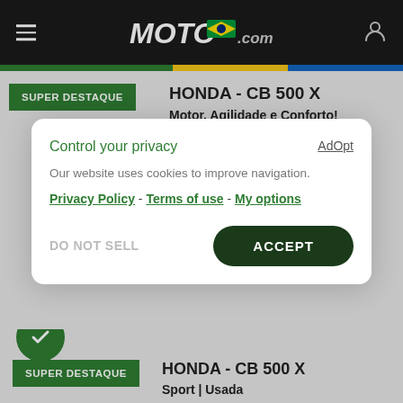MOTO.com.br
HONDA - CB 500 X
Motor, Agilidade e Conforto!
Sport | Usada
Aceita Troca
Control your privacy
Our website uses cookies to improve navigation.
Privacy Policy - Terms of use - My options
DO NOT SELL   ACCEPT
HONDA - CB 500 X
Sport | Usada